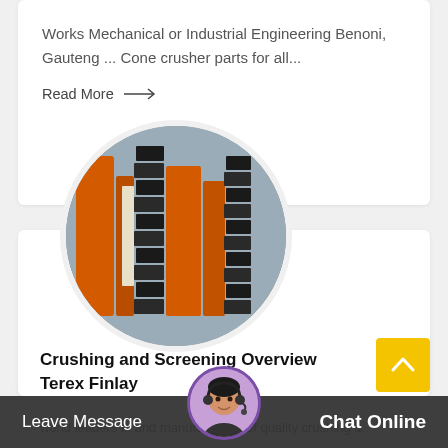Works Mechanical or Industrial Engineering Benoni, Gauteng ... Cone crusher parts for all...
Read More →
[Figure (photo): Circular photo of stacked industrial crusher parts — black and orange jaw plates or crusher liners stacked in rows in a warehouse.]
Crushing and Screening Overview Terex Finlay
world leaders in and manufacturing of quality crushing &
Leave Message
Chat Online